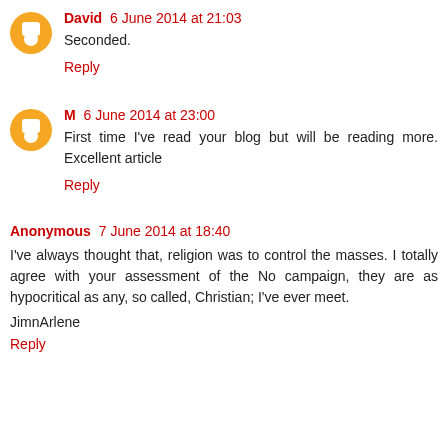David 6 June 2014 at 21:03
Seconded.
Reply
M 6 June 2014 at 23:00
First time I've read your blog but will be reading more. Excellent article
Reply
Anonymous 7 June 2014 at 18:40
I've always thought that, religion was to control the masses. I totally agree with your assessment of the No campaign, they are as hypocritical as any, so called, Christian; I've ever meet.
JimnArlene
Reply